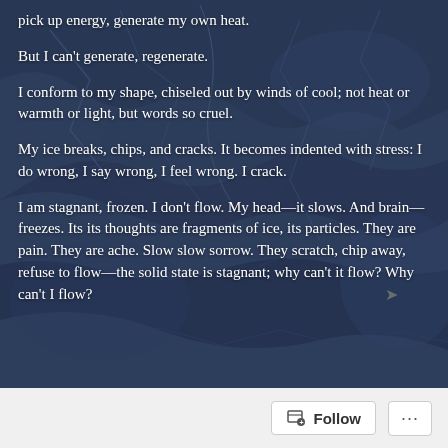[Figure (photo): Dark blue-toned aerial or abstract background photo showing cracked, textured surface resembling ice or frozen ground from above. The image has a dark navy/slate blue color with visible crack patterns and organic shapes.]
pick up energy, generate my own heat.
But I can't generate, regenerate.
I conform to my shape, chiseled out by winds of cool; not heat or warmth or light, but words so cruel.
My ice breaks, chips, and cracks. It becomes indented with stress: I do wrong, I say wrong, I feel wrong. I crack.
I am stagnant, frozen. I don't flow. My head—it slows. And brain—freezes. Its its thoughts are fragments of ice, its particles. They are pain. They are ache. Slow slow sorrow. They scratch, chip away, refuse to flow—the solid state is stagnant; why can't it flow? Why can't I flow?
Follow   ...